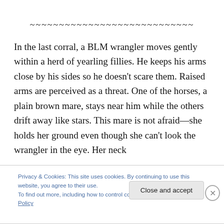~~~~~~~~~~~~~~~~~~~~~~~~~~~~
In the last corral, a BLM wrangler moves gently within a herd of yearling fillies. He keeps his arms close by his sides so he doesn't scare them. Raised arms are perceived as a threat. One of the horses, a plain brown mare, stays near him while the others drift away like stars. This mare is not afraid—she holds her ground even though she can't look the wrangler in the eye. Her neck
Privacy & Cookies: This site uses cookies. By continuing to use this website, you agree to their use.
To find out more, including how to control cookies, see here: Cookie Policy
Close and accept